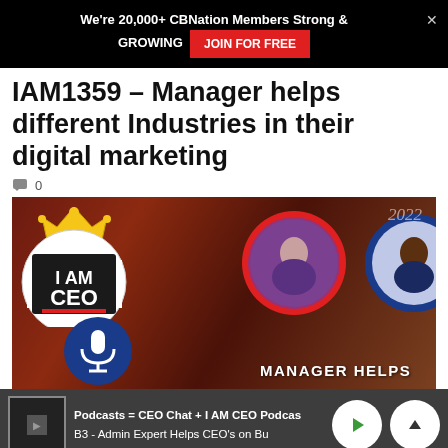We're 20,000+ CBNation Members Strong & GROWING  JOIN FOR FREE
IAM1359 – Manager helps different Industries in their digital marketing
0
[Figure (photo): Podcast thumbnail image with I AM CEO logo on left, two circular portrait photos of guests in the center and right, a microphone icon at bottom left, text 'MANAGER HELPS' at bottom center, and '2022' in top right corner. Dark warm background.]
Podcasts = CEO Chat + I AM CEO Podcas  B3 - Admin Expert Helps CEO's on Bu